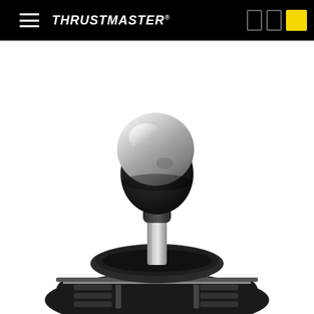THRUSTMASTER
[Figure (photo): Close-up product photo of a Thrustmaster gear shifter with a chrome/silver spherical metal knob on top of a metal shaft, connected to a black textured base with metallic accents. White background.]